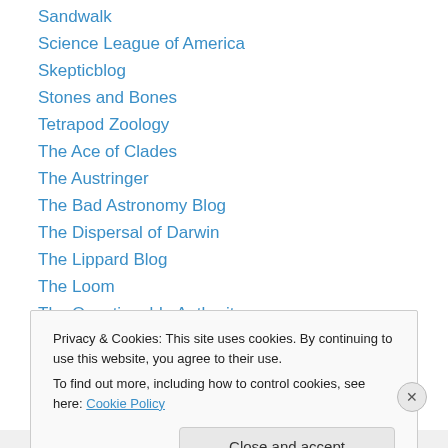Sandwalk
Science League of America
Skepticblog
Stones and Bones
Tetrapod Zoology
The Ace of Clades
The Austringer
The Bad Astronomy Blog
The Dispersal of Darwin
The Lippard Blog
The Loom
The Questionable Authority
The Sensuous Curmudgeon
Privacy & Cookies: This site uses cookies. By continuing to use this website, you agree to their use.
To find out more, including how to control cookies, see here: Cookie Policy
Close and accept